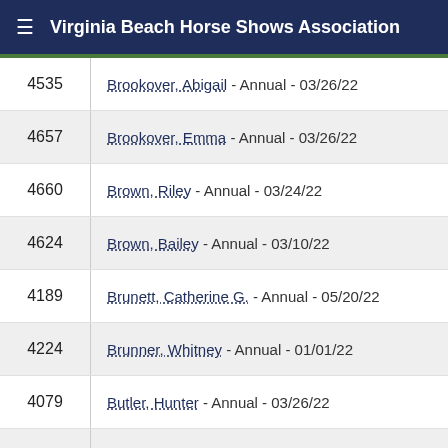Virginia Beach Horse Shows Association
4535 — Brookover, Abigail - Annual - 03/26/22
4657 — Brookover, Emma - Annual - 03/26/22
4660 — Brown, Riley - Annual - 03/24/22
4624 — Brown, Bailey - Annual - 03/10/22
4189 — Brunett, Catherine G. - Annual - 05/20/22
4224 — Brunner, Whitney - Annual - 01/01/22
4079 — Butler, Hunter - Annual - 03/26/22
C
4586 — Cafini, Victoria - Annual - 03/22/22
4265 — Cahoon, Emily - Annual - 04/19/22
4232 — Carofino, Katy - Annual - 03/10/22
4509 — Carofino, Allison - Annual - 03/10/22